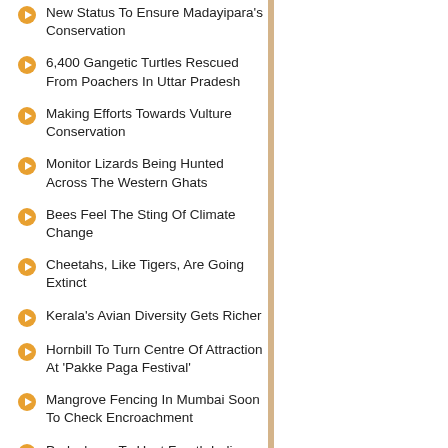New Status To Ensure Madayipara's Conservation
6,400 Gangetic Turtles Rescued From Poachers In Uttar Pradesh
Making Efforts Towards Vulture Conservation
Monitor Lizards Being Hunted Across The Western Ghats
Bees Feel The Sting Of Climate Change
Cheetahs, Like Tigers, Are Going Extinct
Kerala's Avian Diversity Gets Richer
Hornbill To Turn Centre Of Attraction At 'Pakke Paga Festival'
Mangrove Fencing In Mumbai Soon To Check Encroachment
Puducherry To Host Fourth Indian Biodiversity Congress
Rhinoceros - A Successful